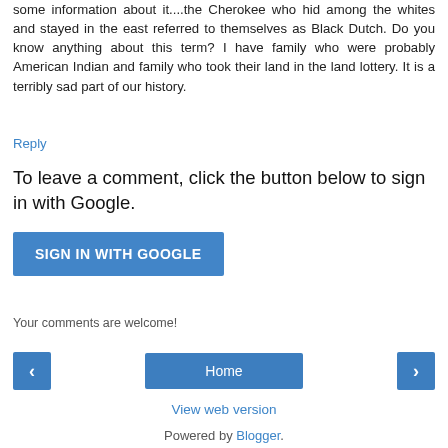some information about it....the Cherokee who hid among the whites and stayed in the east referred to themselves as Black Dutch. Do you know anything about this term? I have family who were probably American Indian and family who took their land in the land lottery. It is a terribly sad part of our history.
Reply
To leave a comment, click the button below to sign in with Google.
SIGN IN WITH GOOGLE
Your comments are welcome!
‹
Home
›
View web version
Powered by Blogger.